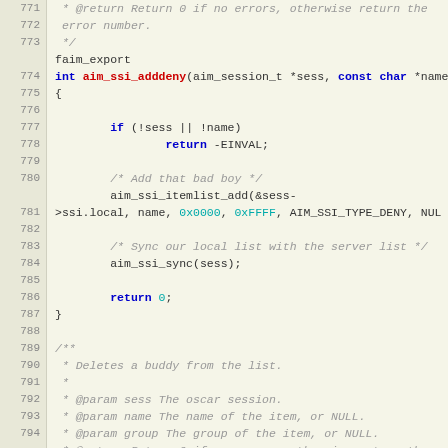[Figure (screenshot): Source code listing showing C code for aim_ssi_adddeny and aim_ssi_delbuddy functions, with line numbers 771-798]